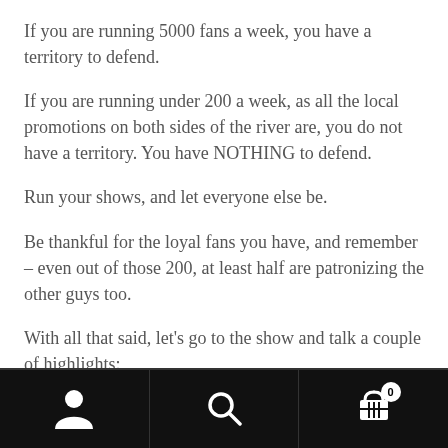If you are running 5000 fans a week, you have a territory to defend.
If you are running under 200 a week, as all the local promotions on both sides of the river are, you do not have a territory. You have NOTHING to defend.
Run your shows, and let everyone else be.
Be thankful for the loyal fans you have, and remember – even out of those 200, at least half are patronizing the other guys too.
With all that said, let's go to the show and talk a couple of highlights:
Navigation bar with person icon, search icon, and cart icon with badge 0